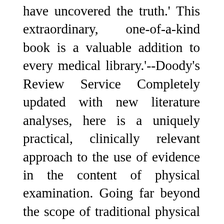have uncovered the truth.' This extraordinary, one-of-a-kind book is a valuable addition to every medical library.'--Doody's Review Service Completely updated with new literature analyses, here is a uniquely practical, clinically relevant approach to the use of evidence in the content of physical examination. Going far beyond the scope of traditional physical examination texts, this invaluable resource compiles and presents the evidence-based meanings of signs, symptoms, and results from physical examination maneuvers and other diagnostic studies. Page after page, you'll find a focus on actual clinical questions and presentations, making it an incomparably practical resource that you'll turn to again and again. Importantly, the high-yield content of The Rational Clinical Examination is significantly expanded and updated from the original JAMA